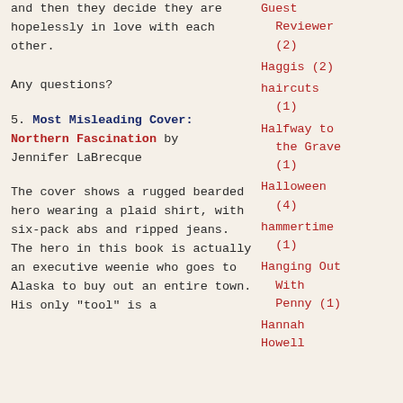and then they decide they are hopelessly in love with each other.
Any questions?
5. Most Misleading Cover: Northern Fascination by Jennifer LaBrecque
The cover shows a rugged bearded hero wearing a plaid shirt, with six-pack abs and ripped jeans. The hero in this book is actually an executive weenie who goes to Alaska to buy out an entire town. His only "tool" is a
Guest Reviewer (2)
Haggis (2)
haircuts (1)
Halfway to the Grave (1)
Halloween (4)
hammertime (1)
Hanging Out With Penny (1)
Hannah Howell